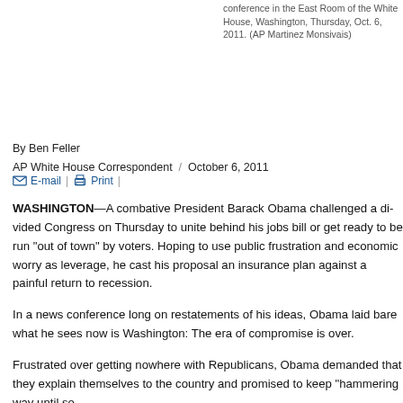conference in the East Room of the White House, Washington, Thursday, Oct. 6, 2011. (AP Martinez Monsivais)
By Ben Feller
AP White House Correspondent / October 6, 2011
E-mail | Print |
WASHINGTON—A combative President Barack Obama challenged a divided Congress on Thursday to unite behind his jobs bill or get ready to be run "out of town" by voters. Hoping to use public frustration and economic worry as leverage, he cast his proposal an insurance plan against a painful return to recession.
In a news conference long on restatements of his ideas, Obama laid bare what he sees now is Washington: The era of compromise is over.
Frustrated over getting nowhere with Republicans, Obama demanded that they explain themselves to the country and promised to keep "hammering way until so